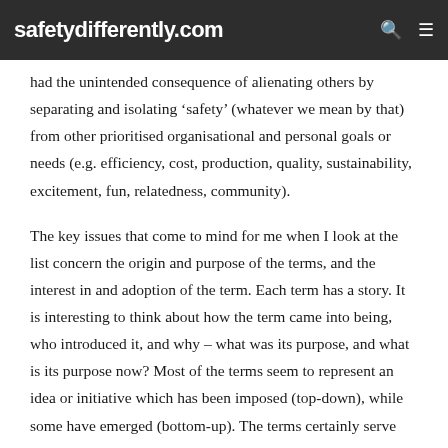safetydifferently.com
had the unintended consequence of alienating others by separating and isolating ‘safety’ (whatever we mean by that) from other prioritised organisational and personal goals or needs (e.g. efficiency, cost, production, quality, sustainability, excitement, fun, relatedness, community).
The key issues that come to mind for me when I look at the list concern the origin and purpose of the terms, and the interest in and adoption of the term. Each term has a story. It is interesting to think about how the term came into being, who introduced it, and why – what was its purpose, and what is its purpose now? Most of the terms seem to represent an idea or initiative which has been imposed (top-down), while some have emerged (bottom-up). The terms certainly serve